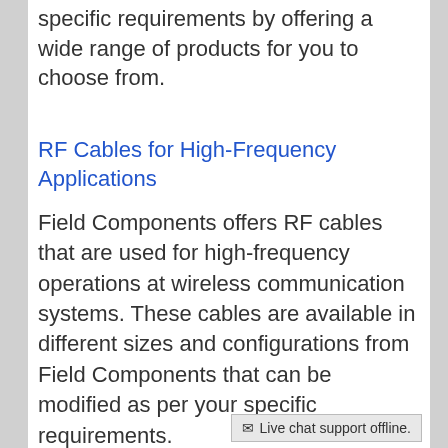specific requirements by offering a wide range of products for you to choose from.
RF Cables for High-Frequency Applications
Field Components offers RF cables that are used for high-frequency operations at wireless communication systems. These cables are available in different sizes and configurations from Field Components that can be modified as per your specific requirements.
With their proven performance and durability, these cables are highly recommended in the field of RF engineering due to their capabilities of providing high performance.
Live chat support offline.